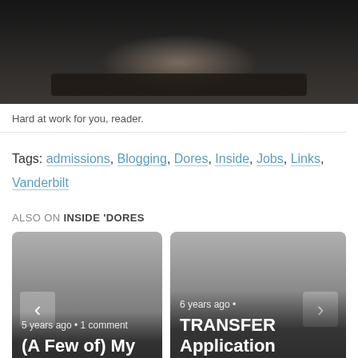[Figure (photo): Photo of hands typing on a keyboard, dark background]
Hard at work for you, reader.
Tags: admissions, Blogging, Dores, Inside, Jobs, Links, Vanderbilt
ALSO ON INSIDE 'DORES
[Figure (screenshot): Card: 5 years ago • 1 comment — (A Few of) My Favorite Things]
[Figure (screenshot): Card: 6 years ago — TRANSFER Application Season]